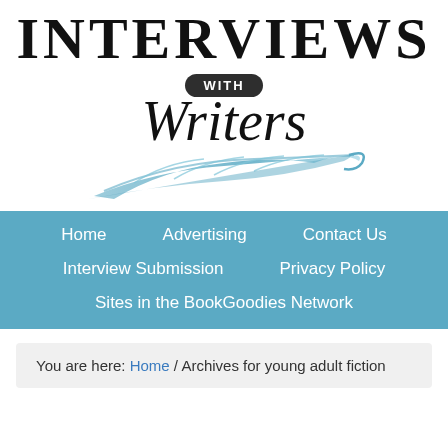[Figure (logo): Interviews with Writers logo featuring large serif INTERVIEWS text, a dark oval badge with WITH, cursive Writers text, and a decorative feather/wave illustration in blue]
Home
Advertising
Contact Us
Interview Submission
Privacy Policy
Sites in the BookGoodies Network
You are here: Home / Archives for young adult fiction